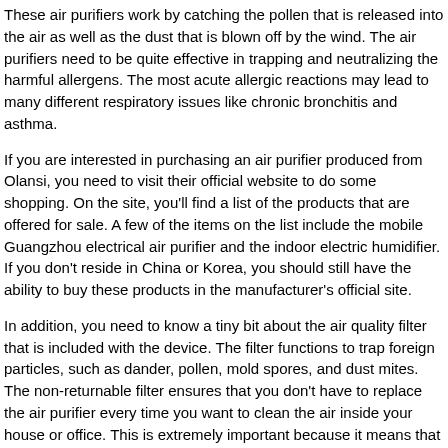These air purifiers work by catching the pollen that is released into the air as well as the dust that is blown off by the wind. The air purifiers need to be quite effective in trapping and neutralizing the harmful allergens. The most acute allergic reactions may lead to many different respiratory issues like chronic bronchitis and asthma.
If you are interested in purchasing an air purifier produced from Olansi, you need to visit their official website to do some shopping. On the site, you'll find a list of the products that are offered for sale. A few of the items on the list include the mobile Guangzhou electrical air purifier and the indoor electric humidifier. If you don't reside in China or Korea, you should still have the ability to buy these products in the manufacturer's official site.
In addition, you need to know a tiny bit about the air quality filter that is included with the device. The filter functions to trap foreign particles, such as dander, pollen, mold spores, and dust mites. The non-returnable filter ensures that you don't have to replace the air purifier every time you want to clean the air inside your house or office. This is extremely important because it means that you do not need to go through the annoyance of dealing with a dirty or dusty filter. For those with pets or tiny children, this feature may prove to be valuable.